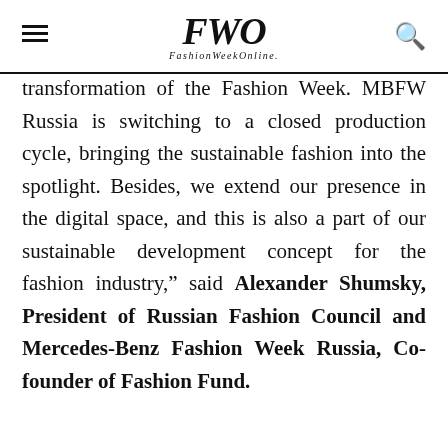FWO FashionWeekOnline.
transformation of the Fashion Week. MBFW Russia is switching to a closed production cycle, bringing the sustainable fashion into the spotlight. Besides, we extend our presence in the digital space, and this is also a part of our sustainable development concept for the fashion industry,” said Alexander Shumsky, President of Russian Fashion Council and Mercedes-Benz Fashion Week Russia, Co-founder of Fashion Fund.